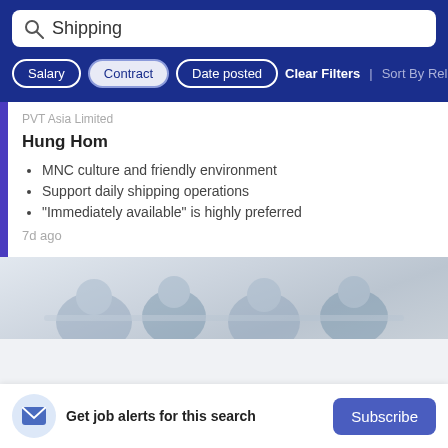Shipping
Salary | Contract | Date posted | Clear Filters | Sort By Relev
PVT Asia Limited
Hung Hom
MNC culture and friendly environment
Support daily shipping operations
"Immediately available" is highly preferred
7d ago
[Figure (photo): Blurred office photo showing people working at a table]
Get job alerts for this search
Subscribe